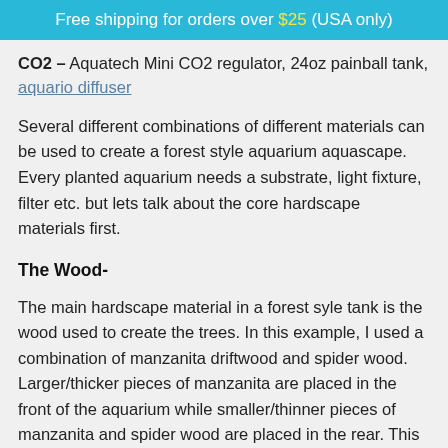Free shipping for orders over $25 (USA only)
CO2 – Aquatech Mini CO2 regulator, 24oz painball tank, aquario diffuser
Several different combinations of different materials can be used to create a forest style aquarium aquascape. Every planted aquarium needs a substrate, light fixture, filter etc. but lets talk about the core hardscape materials first.
The Wood-
The main hardscape material in a forest syle tank is the wood used to create the trees. In this example, I used a combination of manzanita driftwood and spider wood. Larger/thicker pieces of manzanita are placed in the front of the aquarium while smaller/thinner pieces of manzanita and spider wood are placed in the rear. This gradient of wood diameter (front to back) is a key factor in creating the illusion of depth. Many pieces of